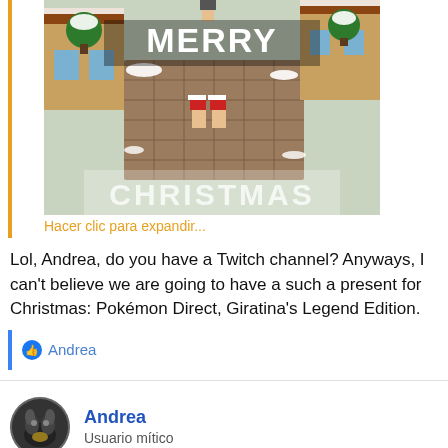[Figure (screenshot): Pixel art Pokemon game screenshot with snow-covered town, two characters in Santa hats, text 'MERRY CHRISTMAS' overlaid]
Hacer clic para expandir...
Lol, Andrea, do you have a Twitch channel? Anyways, I can't believe we are going to have a such a present for Christmas: Pokémon Direct, Giratina's Legend Edition.
Andrea
Andrea
Usuario mítico
23 Dic 2021
#579